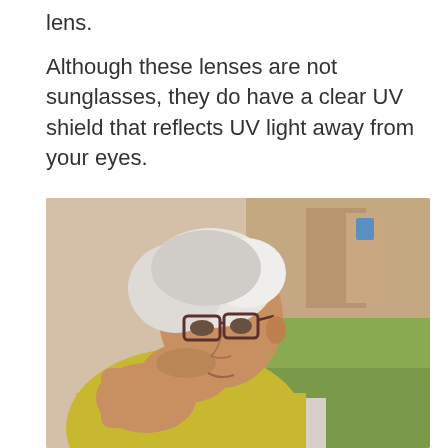lens.
Although these lenses are not sunglasses, they do have a clear UV shield that reflects UV light away from your eyes.
[Figure (photo): An older woman with short white hair and dark-framed glasses, wearing a yellow top, resting her chin on her hand, looking thoughtfully to the side. Background shows a blurred outdoor scene with trees and green lawn.]